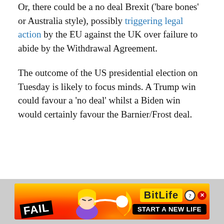Or, there could be a no deal Brexit ('bare bones' or Australia style), possibly triggering legal action by the EU against the UK over failure to abide by the Withdrawal Agreement.
The outcome of the US presidential election on Tuesday is likely to focus minds. A Trump win could favour a 'no deal' whilst a Biden win would certainly favour the Barnier/Frost deal.
[Figure (illustration): Advertisement banner for BitLife mobile game showing a cartoon blonde woman facepalming with flames, 'FAIL' text, BitLife logo in yellow, and 'START A NEW LIFE' call to action on black background.]